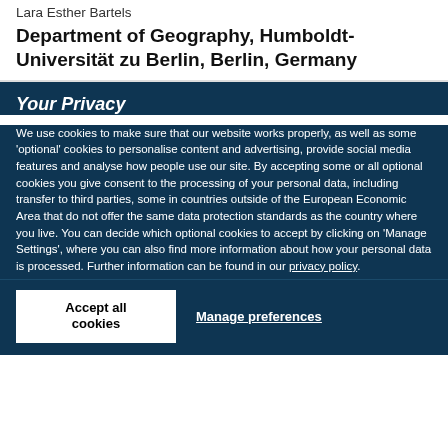Lara Esther Bartels
Department of Geography, Humboldt-Universität zu Berlin, Berlin, Germany
Your Privacy
We use cookies to make sure that our website works properly, as well as some 'optional' cookies to personalise content and advertising, provide social media features and analyse how people use our site. By accepting some or all optional cookies you give consent to the processing of your personal data, including transfer to third parties, some in countries outside of the European Economic Area that do not offer the same data protection standards as the country where you live. You can decide which optional cookies to accept by clicking on 'Manage Settings', where you can also find more information about how your personal data is processed. Further information can be found in our privacy policy.
Accept all cookies
Manage preferences